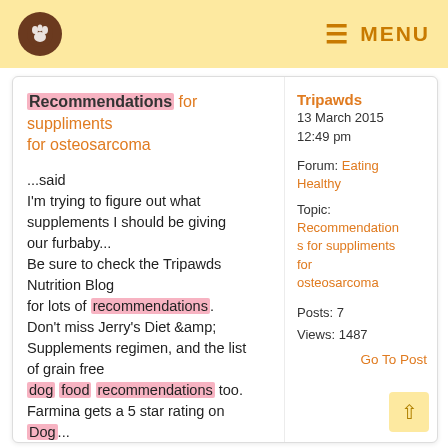MENU
Recommendations for suppliments for osteosarcoma
...said
I'm trying to figure out what supplements I should be giving our furbaby...
Be sure to check the Tripawds Nutrition Blog
for lots of recommendations.
Don't miss Jerry's Diet &amp; Supplements regimen, and the list of grain free
dog food recommendations too.
Farmina gets a 5 star rating on
Dog...
...is the second listed ingredient. You might also consider Apocaps or K9 Immunity
. Both provide excellent immunity support. Dr Dressler's Dog Cancer Survival Kit
offers a wealth of information and ...
Tripawds
13 March 2015
12:49 pm

Forum: Eating Healthy

Topic: Recommendations for suppliments for osteosarcoma

Posts: 7
Views: 1487

Go To Post